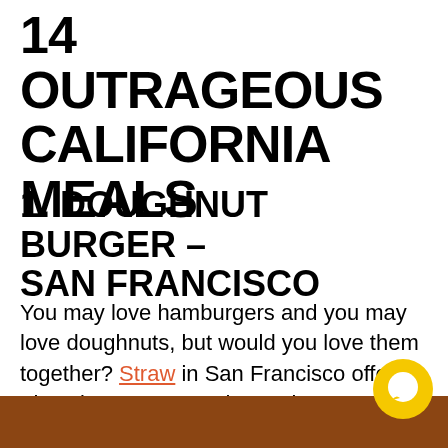14 OUTRAGEOUS CALIFORNIA MEALS
1. DOUGHNUT BURGER – SAN FRANCISCO
You may love hamburgers and you may love doughnuts, but would you love them together? Straw in San Francisco offers The Ringmaster - a cheese burger stuck between two glazed doughnuts (source). It's an interesting take on salty and s... but have they gone too far?
[Figure (photo): Bottom edge of food photo showing a dark brown background, cropped at bottom of page]